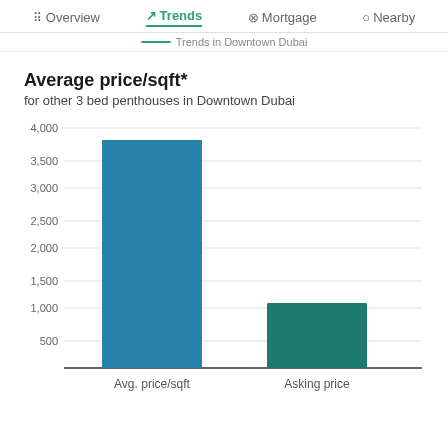Overview  Trends  Mortgage  Nearby
Trends in Downtown Dubai
Average price/sqft*
for other 3 bed penthouses in Downtown Dubai
[Figure (bar-chart): Average price/sqft* for other 3 bed penthouses in Downtown Dubai]